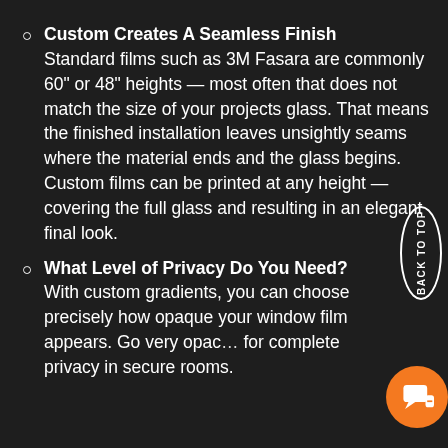Custom Creates A Seamless Finish Standard films such as 3M Fasara are commonly 60" or 48" heights — most often that does not match the size of your projects glass. That means the finished installation leaves unsightly seams where the material ends and the glass begins. Custom films can be printed at any height — covering the full glass and resulting in an elegant final look.
What Level of Privacy Do You Need? With custom gradients, you can choose precisely how opaque your window film appears. Go very opac for complete privacy in secure rooms.